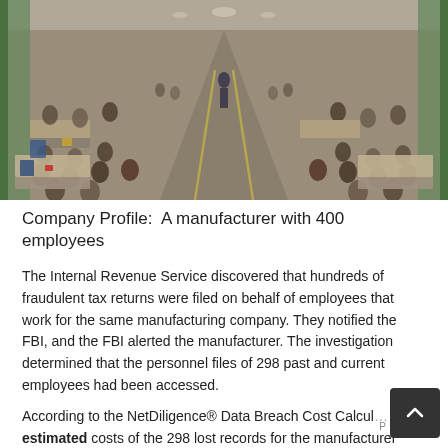[Figure (photo): Interior of a large manufacturing factory floor with rows of workers seated at workstations/sewing machines on both sides of a central aisle. The perspective is from one end looking down the length of the floor. Workers are visible on both sides, with industrial equipment and materials. The space is large with high ceilings and green columns/walls visible. A central aisle with yellow markings runs down the middle.]
Company Profile:  A manufacturer with 400 employees
The Internal Revenue Service discovered that hundreds of fraudulent tax returns were filed on behalf of employees that work for the same manufacturing company. They notified the FBI, and the FBI alerted the manufacturer. The investigation determined that the personnel files of 298 past and current employees had been accessed.
According to the NetDiligence® Data Breach Cost Calculator, the estimated costs of the 298 lost records for the manufacturer